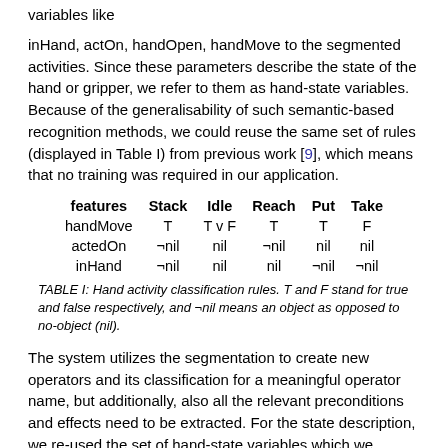variables like
inHand, actOn, handOpen, handMove to the segmented activities. Since these parameters describe the state of the hand or gripper, we refer to them as hand-state variables. Because of the generalisability of such semantic-based recognition methods, we could reuse the same set of rules (displayed in Table I) from previous work [9], which means that no training was required in our application.
| features | Stack | Idle | Reach | Put | Take |
| --- | --- | --- | --- | --- | --- |
| handMove | T | T v F | T | T | F |
| actedOn | ¬nil | nil | ¬nil | nil | nil |
| inHand | ¬nil | nil | nil | ¬nil | ¬nil |
TABLE I: Hand activity classification rules. T and F stand for true and false respectively, and ¬nil means an object as opposed to no-object (nil).
The system utilizes the segmentation to create new operators and its classification for a meaningful operator name, but additionally, also all the relevant preconditions and effects need to be extracted. For the state description, we re-used the set of hand-state variables which we already required for the activity segmentation and